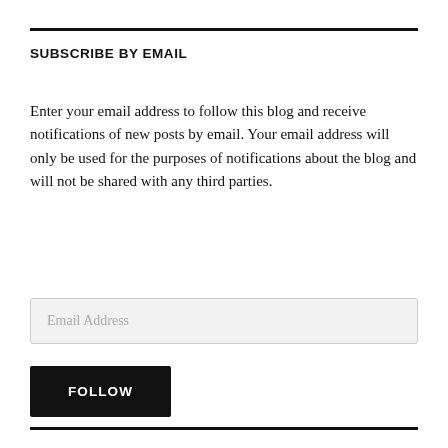SUBSCRIBE BY EMAIL
Enter your email address to follow this blog and receive notifications of new posts by email. Your email address will only be used for the purposes of notifications about the blog and will not be shared with any third parties.
Email Address
FOLLOW